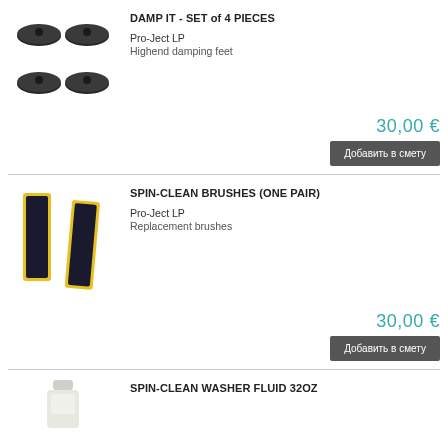DAMP IT - SET of 4 PIECES
Pro-Ject LP
Highend damping feet
30,00 €
Добавить в смету
SPIN-CLEAN BRUSHES (ONE PAIR)
Pro-Ject LP
Replacement brushes
30,00 €
Добавить в смету
SPIN-CLEAN WASHER FLUID 32OZ